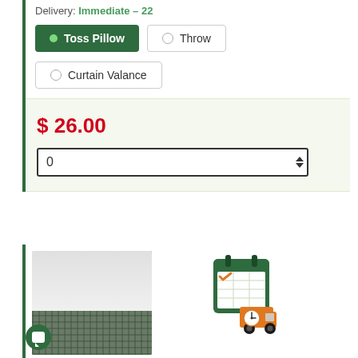Delivery: Immediate – 22
Toss Pillow (selected)
Throw
Curtain Valance
$ 26.00
0
[Figure (photo): Product photo of a checkered bed skirt on a bed with wood floor visible]
[Figure (illustration): Calendar icon with a delivery truck and clock, indicating scheduled delivery]